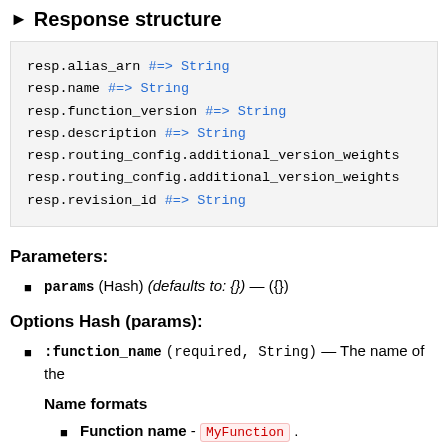▶ Response structure
[Figure (screenshot): Code block showing Ruby response structure: resp.alias_arn, resp.name, resp.function_version, resp.description, resp.routing_config.additional_version_weights (x2), resp.revision_id — all mapped to String type]
Parameters:
params (Hash) (defaults to: {}) — ({})
Options Hash (params):
:function_name (required, String) — The name of the
Name formats
Function name - MyFunction .
Function ARN - arn:aws:lambda:us-west-2:123
Partial ARN - 123456789012:function:MyFunc